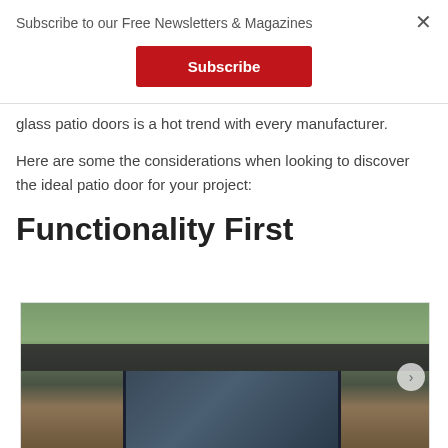Subscribe to our Free Newsletters & Magazines
Subscribe
glass patio doors is a hot trend with every manufacturer.
Here are some the considerations when looking to discover the ideal patio door for your project:
Functionality First
[Figure (photo): Exterior photo of a modern home with large glass patio doors, wood siding, and trees in the background]